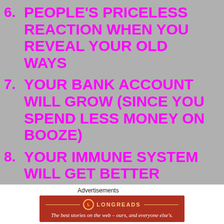6. PEOPLE'S PRICELESS REACTION WHEN YOU REVEAL YOUR OLD WAYS
7. YOUR BANK ACCOUNT WILL GROW (SINCE YOU SPEND LESS MONEY ON BOOZE)
8. YOUR IMMUNE SYSTEM WILL GET BETTER
Advertisements
[Figure (other): Longreads advertisement banner: red background with gold logo and text 'The best stories on the web – ours, and everyone else's.']